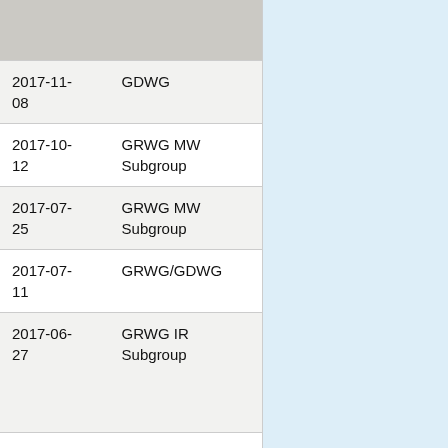| Date | Group |
| --- | --- |
| 2017-11-08 | GDWG |
| 2017-10-12 | GRWG MW Subgroup |
| 2017-07-25 | GRWG MW Subgroup |
| 2017-07-11 | GRWG/GDWG |
| 2017-06-27 | GRWG IR Subgroup |
| 2017-06- | GRWG MW Subgroup |